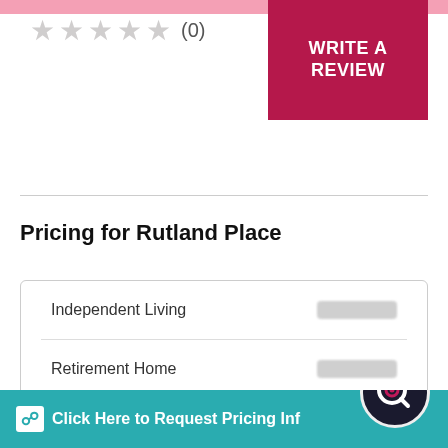[Figure (other): Five empty/grey star rating icons with (0) review count]
[Figure (other): Dark pink 'WRITE A REVIEW' button in top right corner]
Pricing for Rutland Place
| Care Type | Price |
| --- | --- |
| Independent Living | [blurred] |
| Retirement Home | [blurred] |
[Figure (other): Dark pink 'UNLOCK PRICING ESTIMATES' button]
[Figure (other): Teal bar with 'Click Here to Request Pricing Info' and search logo icon]